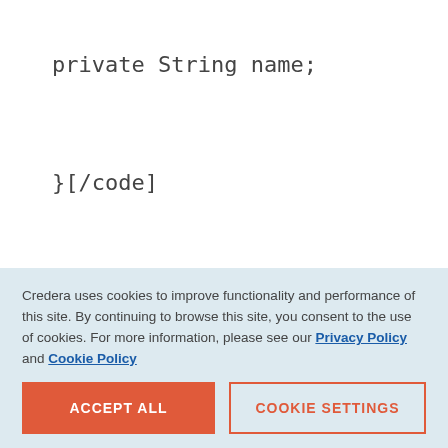private String name;
}[/code]
2. In the controller, we want to get a list of Employee objects and create a Model Attribute for use in the drop-down on the JSP:
Credera uses cookies to improve functionality and performance of this site. By continuing to browse this site, you consent to the use of cookies. For more information, please see our Privacy Policy and Cookie Policy
ACCEPT ALL
COOKIE SETTINGS